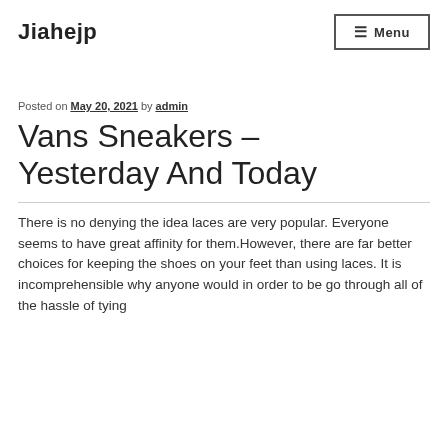Jiahejp
Posted on May 20, 2021 by admin
Vans Sneakers – Yesterday And Today
There is no denying the idea laces are very popular. Everyone seems to have great affinity for them. However, there are far better choices for keeping the shoes on your feet than using laces. It is incomprehensible why anyone would in order to be go through all of the hassle of tying